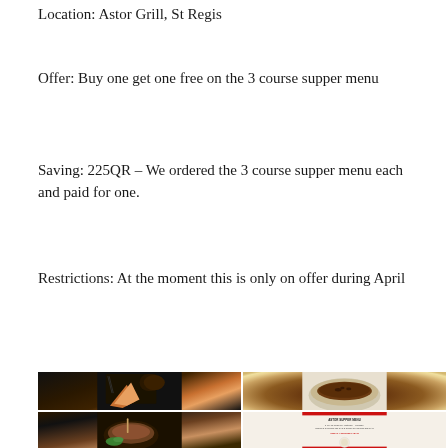Location: Astor Grill, St Regis
Offer: Buy one get one free on the 3 course supper menu
Saving: 225QR – We ordered the 3 course supper menu each and paid for one.
Restrictions: At the moment this is only on offer during April
[Figure (photo): Four food photos in a 2x2 grid: top-left shows tempura shrimp with dipping soup, top-right shows a creme brulee in a ceramic bowl, bottom-left shows a soup bowl, bottom-right shows the Astor Supper Menu card with red border]